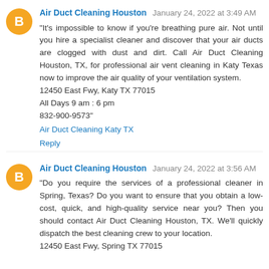Air Duct Cleaning Houston  January 24, 2022 at 3:49 AM
"It's impossible to know if you're breathing pure air. Not until you hire a specialist cleaner and discover that your air ducts are clogged with dust and dirt. Call Air Duct Cleaning Houston, TX, for professional air vent cleaning in Katy Texas now to improve the air quality of your ventilation system.
12450 East Fwy, Katy TX 77015
All Days 9 am : 6 pm
832-900-9573"
Air Duct Cleaning Katy TX
Reply
Air Duct Cleaning Houston  January 24, 2022 at 3:56 AM
"Do you require the services of a professional cleaner in Spring, Texas? Do you want to ensure that you obtain a low-cost, quick, and high-quality service near you? Then you should contact Air Duct Cleaning Houston, TX. We'll quickly dispatch the best cleaning crew to your location.
12450 East Fwy, Spring TX 77015